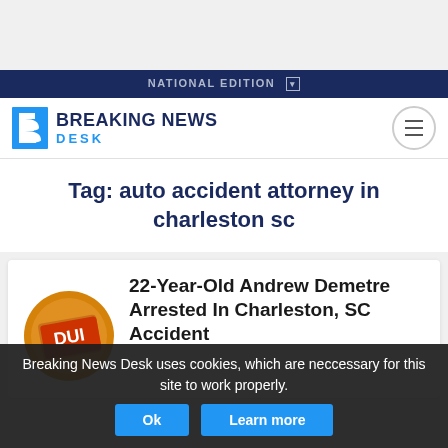NATIONAL EDITION
[Figure (logo): Breaking News Desk logo with blue B icon and bold text]
Tag: auto accident attorney in charleston sc
22-Year-Old Andrew Demetre Arrested In Charleston, SC Accident
[Figure (illustration): DUI stamp icon circular orange badge]
Breaking News Desk uses cookies, which are neccessary for this site to work properly.